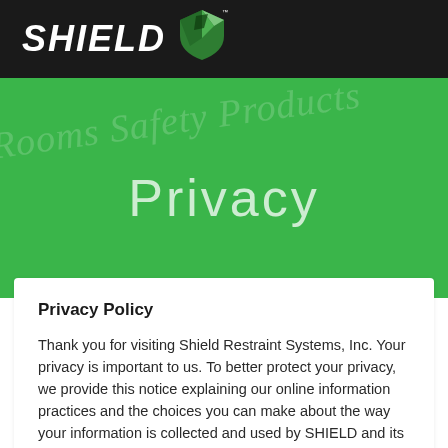SHIELD
Privacy
Privacy Policy
Thank you for visiting Shield Restraint Systems, Inc. Your privacy is important to us. To better protect your privacy, we provide this notice explaining our online information practices and the choices you can make about the way your information is collected and used by SHIELD and its family of companies (collectively, -SHIELD-)